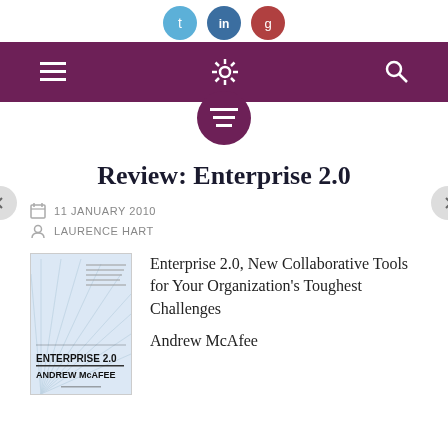[Figure (other): Social media icon buttons (Twitter, LinkedIn, and another) at top of page]
[Figure (other): Purple navigation bar with hamburger menu icon, gear/settings icon, and search icon]
[Figure (other): Purple circle with list/content icon below nav bar]
Review: Enterprise 2.0
11 JANUARY 2010
LAURENCE HART
[Figure (illustration): Book cover for Enterprise 2.0 by Andrew McAfee with radiating lines design]
Enterprise 2.0, New Collaborative Tools for Your Organization's Toughest Challenges
Andrew McAfee